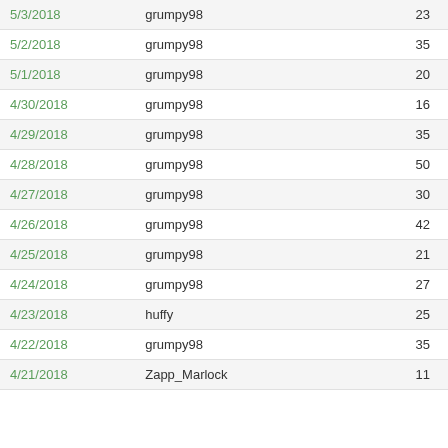| Date | User | Count |
| --- | --- | --- |
| 5/3/2018 | grumpy98 | 23 |
| 5/2/2018 | grumpy98 | 35 |
| 5/1/2018 | grumpy98 | 20 |
| 4/30/2018 | grumpy98 | 16 |
| 4/29/2018 | grumpy98 | 35 |
| 4/28/2018 | grumpy98 | 50 |
| 4/27/2018 | grumpy98 | 30 |
| 4/26/2018 | grumpy98 | 42 |
| 4/25/2018 | grumpy98 | 21 |
| 4/24/2018 | grumpy98 | 27 |
| 4/23/2018 | huffy | 25 |
| 4/22/2018 | grumpy98 | 35 |
| 4/21/2018 | Zapp_Marlock | 11 |